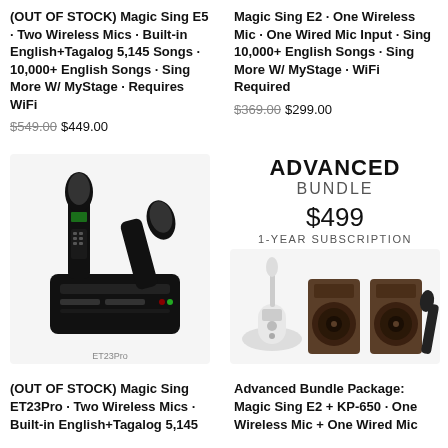(OUT OF STOCK) Magic Sing E5 · Two Wireless Mics · Built-in English+Tagalog 5,145 Songs · 10,000+ English Songs · Sing More W/ MyStage · Requires WiFi
Magic Sing E2 · One Wireless Mic · One Wired Mic Input · Sing 10,000+ English Songs · Sing More W/ MyStage · WiFi Required
$549.00 $449.00
$369.00 $299.00
[Figure (photo): Black karaoke microphone system with two wireless mics and base unit (ET23Pro)]
ADVANCED BUNDLE
$499 1-YEAR SUBSCRIPTION
[Figure (photo): Advanced Bundle Package showing Magic Sing E2 white unit with base, two dark wood speakers (KP-650), and microphone]
(OUT OF STOCK) Magic Sing ET23Pro · Two Wireless Mics · Built-in English+Tagalog 5,145
Advanced Bundle Package: Magic Sing E2 + KP-650 · One Wireless Mic + One Wired Mic